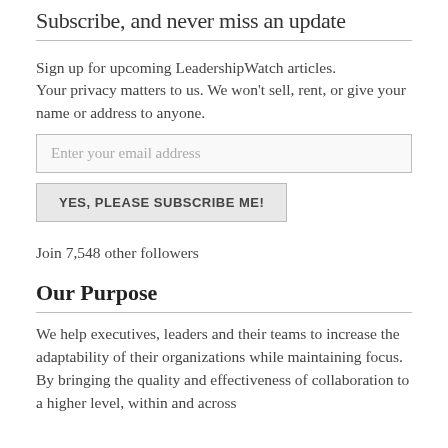Subscribe, and never miss an update
Sign up for upcoming LeadershipWatch articles. Your privacy matters to us. We won't sell, rent, or give your name or address to anyone.
Enter your email address
YES, PLEASE SUBSCRIBE ME!
Join 7,548 other followers
Our Purpose
We help executives, leaders and their teams to increase the adaptability of their organizations while maintaining focus. By bringing the quality and effectiveness of collaboration to a higher level, within and across